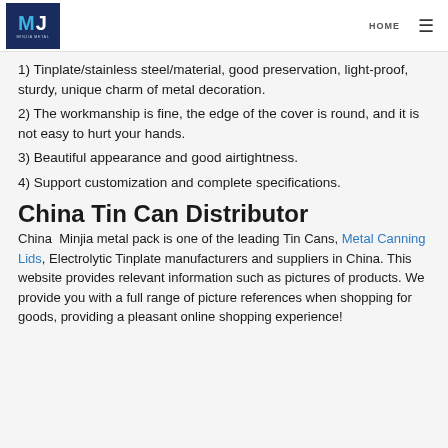HOME ≡
1) Tinplate/stainless steel/material, good preservation, light-proof, sturdy, unique charm of metal decoration.
2) The workmanship is fine, the edge of the cover is round, and it is not easy to hurt your hands.
3) Beautiful appearance and good airtightness.
4) Support customization and complete specifications.
China Tin Can Distributor
China  Minjia metal pack is one of the leading Tin Cans, Metal Canning Lids, Electrolytic Tinplate manufacturers and suppliers in China. This website provides relevant information such as pictures of products. We provide you with a full range of picture references when shopping for goods, providing a pleasant online shopping experience!